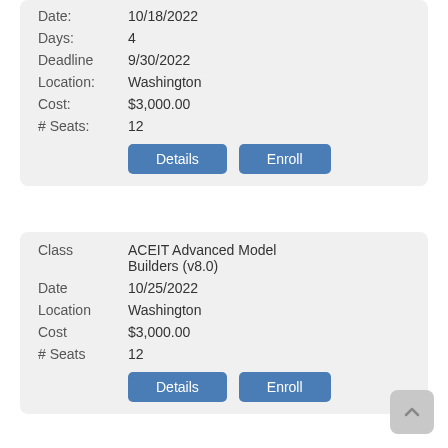| Field | Value |
| --- | --- |
| Date: | 10/18/2022 |
| Days: | 4 |
| Deadline | 9/30/2022 |
| Location: | Washington |
| Cost: | $3,000.00 |
| # Seats: | 12 |
Details | Enroll
| Field | Value |
| --- | --- |
| Class | ACEIT Advanced Model Builders (v8.0) |
| Date | 10/25/2022 |
| Location | Washington |
| Cost | $3,000.00 |
| # Seats | 12 |
Details | Enroll